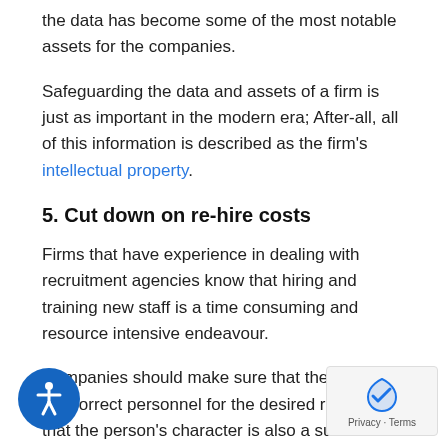the data has become some of the most notable assets for the companies.
Safeguarding the data and assets of a firm is just as important in the modern era; After-all, all of this information is described as the firm's intellectual property.
5. Cut down on re-hire costs
Firms that have experience in dealing with recruitment agencies know that hiring and training new staff is a time consuming and resource intensive endeavour.
Companies should make sure that they have the correct personnel for the desired role and that the person's character is also a suitable fit for the role at hand. After all, it is essential from a financial perspective.